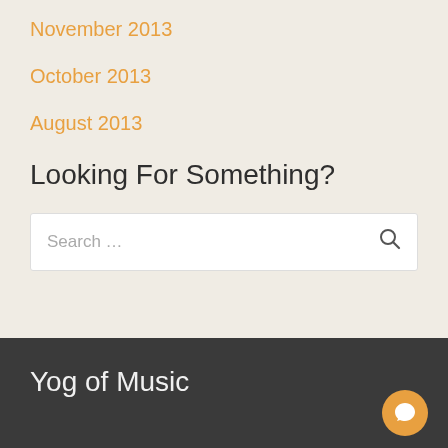November 2013
October 2013
August 2013
Looking For Something?
Search …
Yog of Music